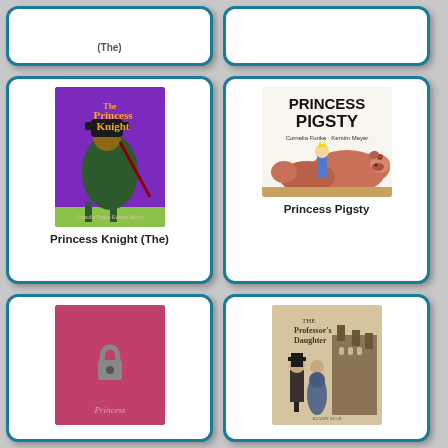(The)
[Figure (illustration): Book cover of Princess Knight (The) by Cornelia Funke and Kerstin Meyer on purple background with knight on horse]
Princess Knight (The)
[Figure (illustration): Book cover of Princess Pigsty by Cornelia Funke and Kerstin Meyer showing a girl with large pigs]
Princess Pigsty
[Figure (illustration): Book cover of a Princess book with dark bird/crow on pink background]
[Figure (illustration): Book cover of The Professor's Daughter with sepia toned illustrated characters in Victorian setting]